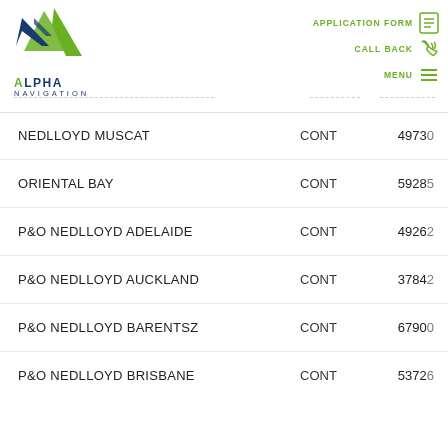Alpha Navigation | APPLICATION FORM | CALL BACK | MENU
| Vessel Name | Type | Number |
| --- | --- | --- |
| NEDLLOYD MUSCAT | CONT | 49730 |
| ORIENTAL BAY | CONT | 59285 |
| P&O NEDLLOYD ADELAIDE | CONT | 49262 |
| P&O NEDLLOYD AUCKLAND | CONT | 37842 |
| P&O NEDLLOYD BARENTSZ | CONT | 67900 |
| P&O NEDLLOYD BRISBANE | CONT | 53726 |